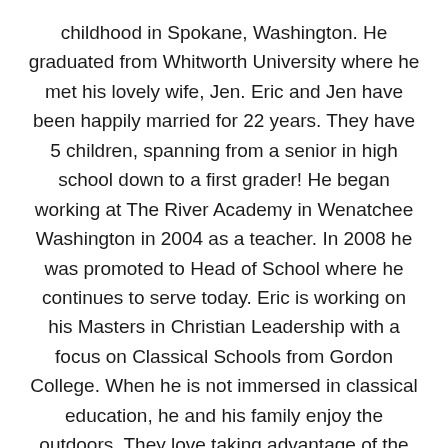childhood in Spokane, Washington. He graduated from Whitworth University where he met his lovely wife, Jen. Eric and Jen have been happily married for 22 years. They have 5 children, spanning from a senior in high school down to a first grader! He began working at The River Academy in Wenatchee Washington in 2004 as a teacher. In 2008 he was promoted to Head of School where he continues to serve today. Eric is working on his Masters in Christian Leadership with a focus on Classical Schools from Gordon College. When he is not immersed in classical education, he and his family enjoy the outdoors. They love taking advantage of the hiking, mountain biking, and snow skiing that the Wenatchee Valley has to offer.